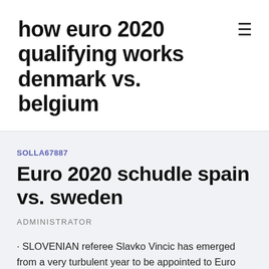how euro 2020 qualifying works denmark vs. belgium
SOLLA67887
Euro 2020 schudle spain vs. sweden
ADMINISTRATOR
· SLOVENIAN referee Slavko Vincic has emerged from a very turbulent year to be appointed to Euro 2020.